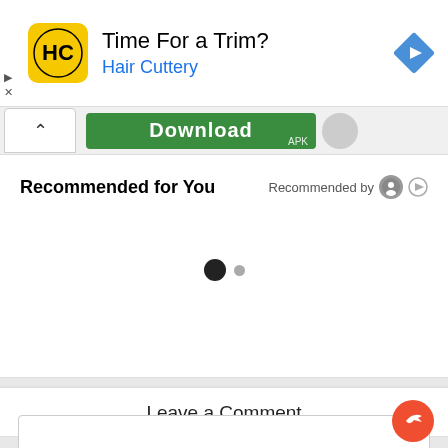[Figure (screenshot): Advertisement banner for Hair Cuttery with logo, title 'Time For a Trim?', subtitle 'Hair Cuttery', and a blue diamond navigation icon on the right.]
[Figure (screenshot): Download APK button (green) with a chevron/collapse button to the left and a circular icon to the right.]
Recommended for You
Recommended by [icon] [play icon]
[Figure (other): Pagination dots: one large filled black dot and one smaller grey dot.]
Leave a Comment
Comment
[Figure (other): Comment input text box (empty).]
[Figure (other): Orange/red circular floating action button with a share/reply arrow icon.]